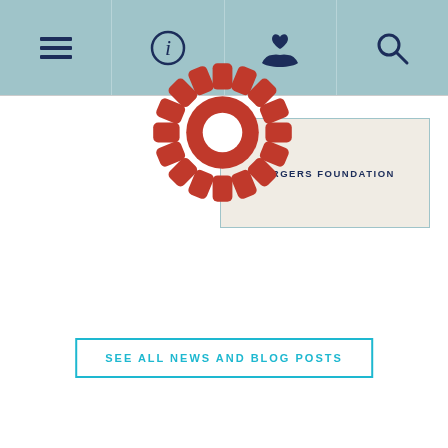Navigation bar with menu, info, donate, and search icons
[Figure (logo): Red gear/cog icon overlapping a card labeled BURGERS FOUNDATION]
BURGERS FOUNDATION
SEE ALL NEWS AND BLOG POSTS
[Figure (illustration): Red gear/cog icon centered above a red horizontal rule in the footer area]
Newsletter sign up
[Figure (illustration): Envelope/email icon]
Follow us